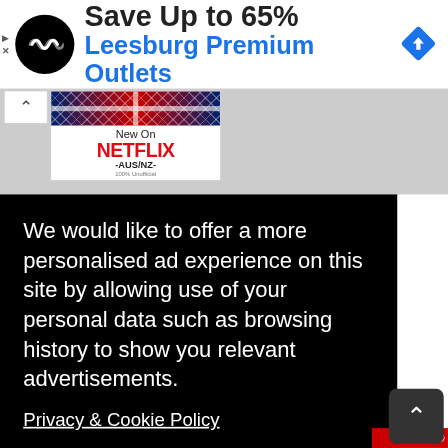[Figure (screenshot): Advertisement banner: circular black logo with double arrow icon, text 'Save Up to 65% Leesburg Premium Outlets', blue diamond navigation icon on right, play/close controls on left]
[Figure (screenshot): Netflix AUS/NZ thumbnail with UK flag background, text 'New On NETFLIX -AUS/NZ- 100% Unofficial']
We would like to offer a more personalised ad experience on this site by allowing use of your personal data such as browsing history to show you relevant advertisements.
Privacy & Cookie Policy
No thanks
I AGREE